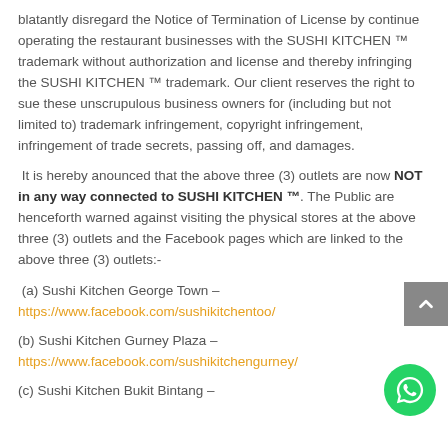blatantly disregard the Notice of Termination of License by continue operating the restaurant businesses with the SUSHI KITCHEN ™ trademark without authorization and license and thereby infringing the SUSHI KITCHEN ™ trademark. Our client reserves the right to sue these unscrupulous business owners for (including but not limited to) trademark infringement, copyright infringement, infringement of trade secrets, passing off, and damages.
It is hereby anounced that the above three (3) outlets are now NOT in any way connected to SUSHI KITCHEN ™. The Public are henceforth warned against visiting the physical stores at the above three (3) outlets and the Facebook pages which are linked to the above three (3) outlets:-
(a) Sushi Kitchen George Town – https://www.facebook.com/sushikitchentoo/
(b) Sushi Kitchen Gurney Plaza – https://www.facebook.com/sushikitchengurney/
(c) Sushi Kitchen Bukit Bintang –